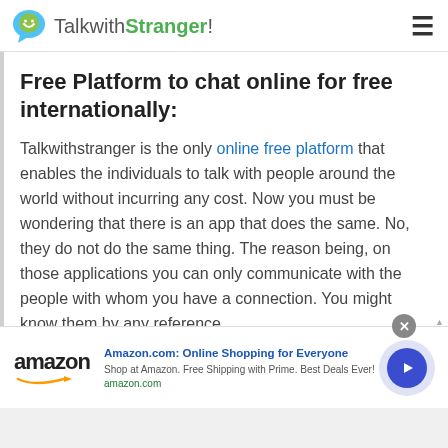TalkwithStranger!
Free Platform to chat online for free internationally:
Talkwithstranger is the only online free platform that enables the individuals to talk with people around the world without incurring any cost. Now you must be wondering that there is an app that does the same. No, they do not do the same thing. The reason being, on those applications you can only communicate with the people with whom you have a connection. You might know them by any reference
[Figure (infographic): Amazon advertisement banner with logo, text 'Amazon.com: Online Shopping for Everyone', description 'Shop at Amazon. Free Shipping with Prime. Best Deals Ever!', amazon.com URL, and a blue circular play/arrow button. A grey close (X) button is visible at top right of the banner.]